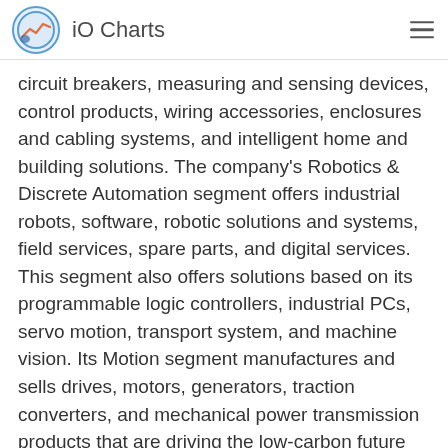iO Charts
circuit breakers, measuring and sensing devices, control products, wiring accessories, enclosures and cabling systems, and intelligent home and building solutions. The company's Robotics & Discrete Automation segment offers industrial robots, software, robotic solutions and systems, field services, spare parts, and digital services. This segment also offers solutions based on its programmable logic controllers, industrial PCs, servo motion, transport system, and machine vision. Its Motion segment manufactures and sells drives, motors, generators, traction converters, and mechanical power transmission products that are driving the low-carbon future for industries, cities, infrastructure, and transportation. The company's Process Automation segment provides process and discrete control technologies, advanced process control software and manufacturing execution systems, sensing, measurement and analytical instrumentation, marine propulsion